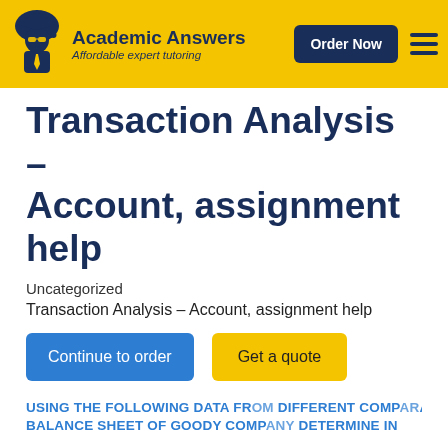Academic Answers – Affordable expert tutoring | Order Now
Transaction Analysis – Account, assignment help
Uncategorized
Transaction Analysis – Account, assignment help
Continue to order | Get a quote
USING THE FOLLOWING DATA FROM DIFFERENT COMPARATIVE BALANCE SHEET OF GOODY COMPANY DETERMINE IN